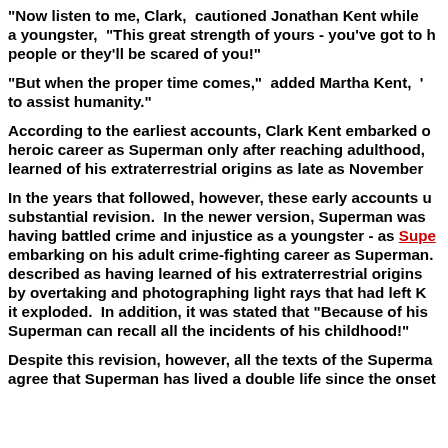"Now listen to me, Clark, cautioned Jonathan Kent while a youngster, "This great strength of yours - you've got to h people or they'll be scared of you!"
"But when the proper time comes," added Martha Kent, ' to assist humanity."
According to the earliest accounts, Clark Kent embarked o heroic career as Superman only after reaching adulthood, learned of his extraterrestrial origins as late as November
In the years that followed, however, these early accounts u substantial revision. In the newer version, Superman was having battled crime and injustice as a youngster - as Superboy - before embarking on his adult crime-fighting career as Superman. described as having learned of his extraterrestrial origins by overtaking and photographing light rays that had left K it exploded. In addition, it was stated that "Because of his Superman can recall all the incidents of his childhood!"
Despite this revision, however, all the texts of the Superma agree that Superman has lived a double life since the onset